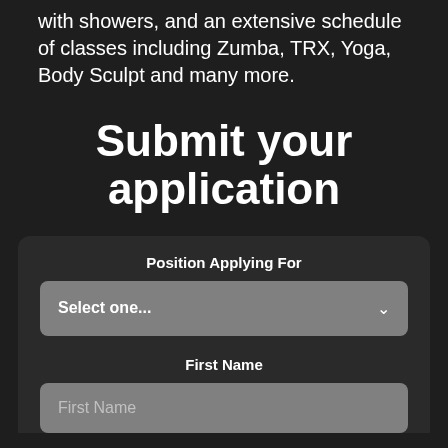with showers, and an extensive schedule of classes including Zumba, TRX, Yoga, Body Sculpt and many more.
Submit your application
Position Applying For
Select one...
First Name
First Name